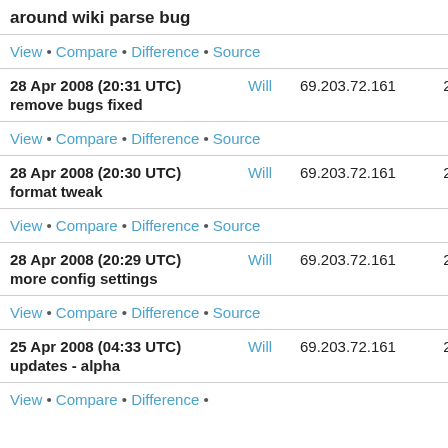around wiki parse bug
View • Compare • Difference • Source
28 Apr 2008 (20:31 UTC)   Will   69.203.72.161   25
remove bugs fixed
View • Compare • Difference • Source
28 Apr 2008 (20:30 UTC)   Will   69.203.72.161   24
format tweak
View • Compare • Difference • Source
28 Apr 2008 (20:29 UTC)   Will   69.203.72.161   23
more config settings
View • Compare • Difference • Source
25 Apr 2008 (04:33 UTC)   Will   69.203.72.161   22
updates - alpha
View • Compare • Difference •